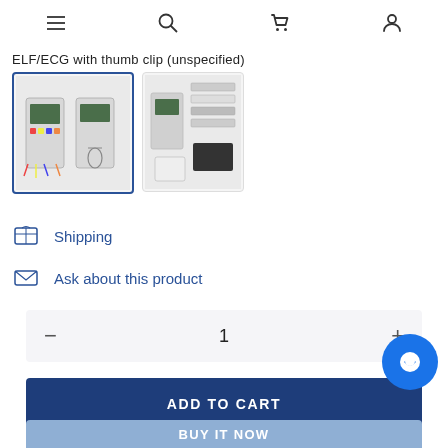Navigation bar with menu, search, cart, and account icons
ELF/ECG with thumb clip (unspecified)
[Figure (photo): Two product thumbnail images: first selected with blue border showing ECG device with colored leads, second showing device components/accessories]
Shipping
Ask about this product
1
ADD TO CART
BUY IT NOW